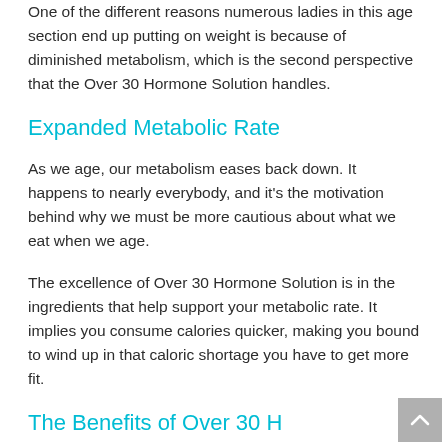One of the different reasons numerous ladies in this age section end up putting on weight is because of diminished metabolism, which is the second perspective that the Over 30 Hormone Solution handles.
Expanded Metabolic Rate
As we age, our metabolism eases back down. It happens to nearly everybody, and it's the motivation behind why we must be more cautious about what we eat when we age.
The excellence of Over 30 Hormone Solution is in the ingredients that help support your metabolic rate. It implies you consume calories quicker, making you bound to wind up in that caloric shortage you have to get more fit.
The Benefits of Over 30 H…